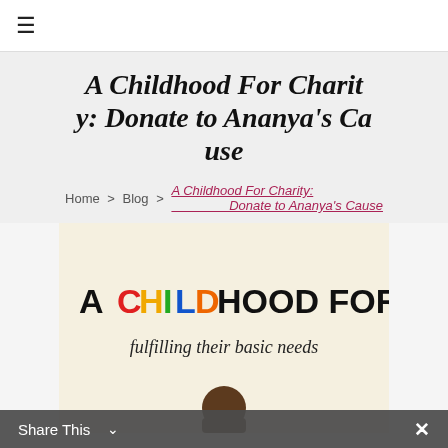☰
A Childhood For Charity: Donate to Ananya's Cause
Home > Blog > A Childhood For Charity: Donate to Ananya's Cause
[Figure (illustration): Charity poster with text 'A CHILDHOOD FOR CHILDREN fulfilling their basic needs' with colorful lettering for CHILD and a person visible at bottom]
Share This  ✕